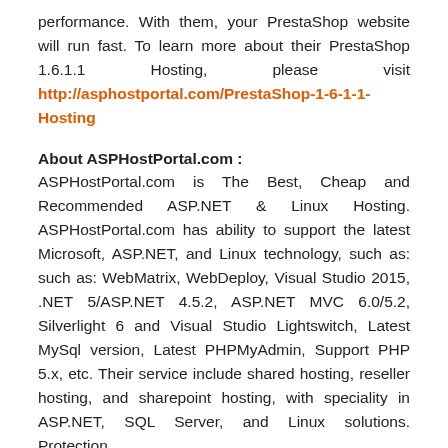performance. With them, your PrestaShop website will run fast. To learn more about their PrestaShop 1.6.1.1 Hosting, please visit http://asphostportal.com/PrestaShop-1-6-1-1-Hosting
About ASPHostPortal.com :
ASPHostPortal.com is The Best, Cheap and Recommended ASP.NET & Linux Hosting. ASPHostPortal.com has ability to support the latest Microsoft, ASP.NET, and Linux technology, such as: such as: WebMatrix, WebDeploy, Visual Studio 2015, .NET 5/ASP.NET 4.5.2, ASP.NET MVC 6.0/5.2, Silverlight 6 and Visual Studio Lightswitch, Latest MySql version, Latest PHPMyAdmin, Support PHP 5.x, etc. Their service include shared hosting, reseller hosting, and sharepoint hosting, with speciality in ASP.NET, SQL Server, and Linux solutions. Protection,